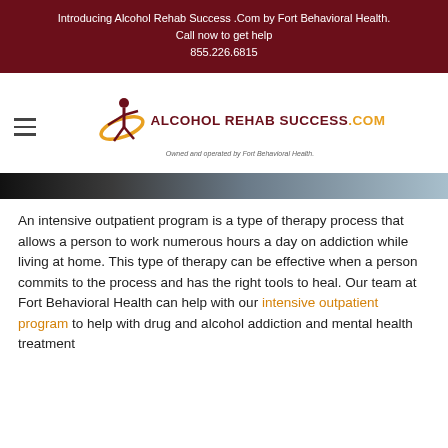Introducing Alcohol Rehab Success .Com by Fort Behavioral Health.
Call now to get help
855.226.6815
[Figure (logo): Alcohol Rehab Success .com logo with stylized figure and orbit graphic. Owned and operated by Fort Behavioral Health.]
[Figure (photo): Hero image strip showing a partially visible person, dark to light gradient.]
An intensive outpatient program is a type of therapy process that allows a person to work numerous hours a day on addiction while living at home. This type of therapy can be effective when a person commits to the process and has the right tools to heal. Our team at Fort Behavioral Health can help with our intensive outpatient program to help with drug and alcohol addiction and mental health treatment